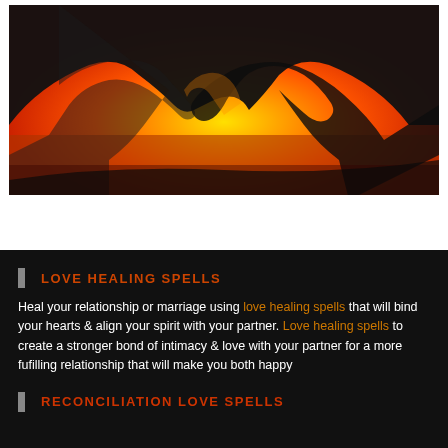[Figure (photo): Silhouette of two hands forming a heart shape against a warm orange and yellow sunset sky background.]
LOVE HEALING SPELLS
Heal your relationship or marriage using love healing spells that will bind your hearts & align your spirit with your partner. Love healing spells to create a stronger bond of intimacy & love with your partner for a more fufilling relationship that will make you both happy
RECONCILIATION LOVE SPELLS